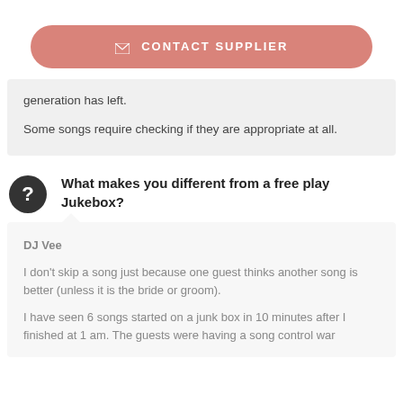[Figure (other): Contact Supplier button with envelope icon, salmon/pink rounded rectangle]
generation has left.

Some songs require checking if they are appropriate at all.
What makes you different from a free play Jukebox?
DJ Vee
I don't skip a song just because one guest thinks another song is better (unless it is the bride or groom).

I have seen 6 songs started on a junk box in 10 minutes after I finished at 1 am. The guests were having a song control war